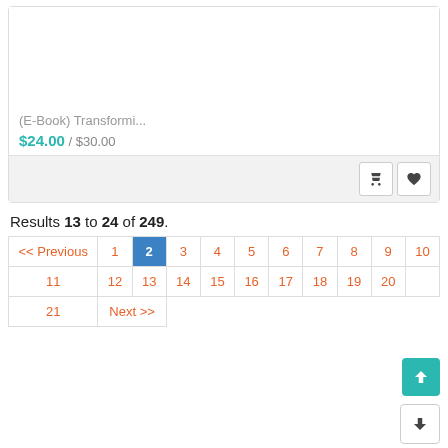(E-Book) Transformi...
$24.00 / $30.00
Results 13 to 24 of 249.
| << Previous | 1 | 2 | 3 | 4 | 5 | 6 | 7 | 8 | 9 | 10 |
| --- | --- | --- | --- | --- | --- | --- | --- | --- | --- | --- |
| 11 | 12 | 13 | 14 | 15 | 16 | 17 | 18 | 19 | 20 |  |
| 21 | Next >> |  |  |  |  |  |  |  |  |  |